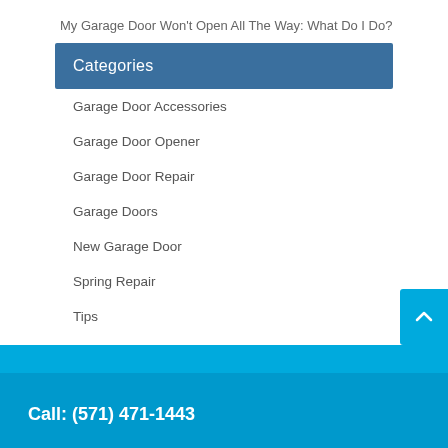My Garage Door Won't Open All The Way: What Do I Do?
Categories
Garage Door Accessories
Garage Door Opener
Garage Door Repair
Garage Doors
New Garage Door
Spring Repair
Tips
Call: (571) 471-1443